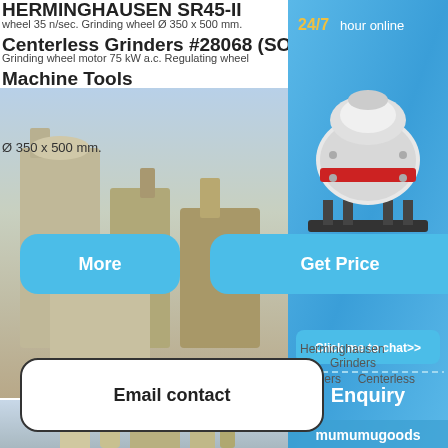HERMINGHAUSEN SR45-II
wheel 35 n/sec. Grinding wheel Ø 350 x 500 mm.
Centerless Grinders #28068 (SOLD) -
Grinding wheel motor 75 kW a.c. Regulating wheel
Machine Tools
Ø 350 x 500 mm.
Nov  25,
2009
[Figure (screenshot): Blue More and Get Price buttons]
Herminghausen
Grinders
Precision   Centerless
[Figure (screenshot): Email contact button]
[Figure (photo): Industrial grinding/milling facility exterior with large equipment and silos]
[Figure (infographic): Right sidebar with 24/7 hour online text, cone crusher machinery image, Click me to chat>> button, Enquiry text, mumumugoods branding on blue background]